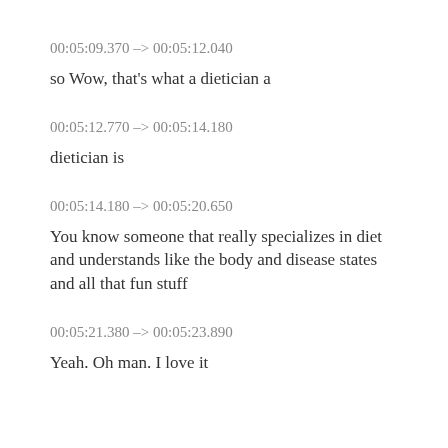00:05:09.370 –> 00:05:12.040
so Wow, that's what a dietician a
00:05:12.770 –> 00:05:14.180
dietician is
00:05:14.180 –> 00:05:20.650
You know someone that really specializes in diet and understands like the body and disease states and all that fun stuff
00:05:21.380 –> 00:05:23.890
Yeah. Oh man. I love it